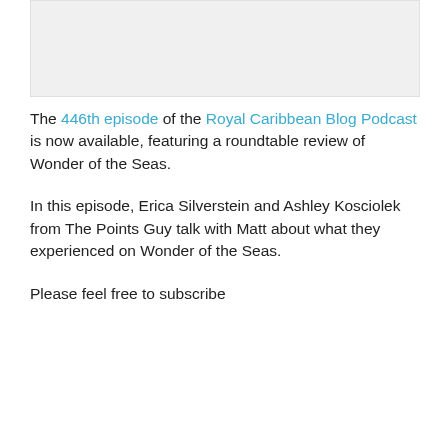[Figure (photo): Image placeholder at top of page]
The 446th episode of the Royal Caribbean Blog Podcast is now available, featuring a roundtable review of Wonder of the Seas.
In this episode, Erica Silverstein and Ashley Kosciolek from The Points Guy talk with Matt about what they experienced on Wonder of the Seas.
Please feel free to subscribe